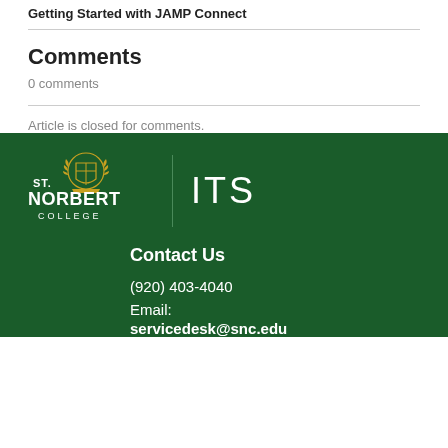Getting Started with JAMP Connect
Comments
0 comments
Article is closed for comments.
[Figure (logo): St. Norbert College ITS logo in white and gold on dark green background]
Contact Us
(920) 403-4040
Email:
servicedesk@snc.edu